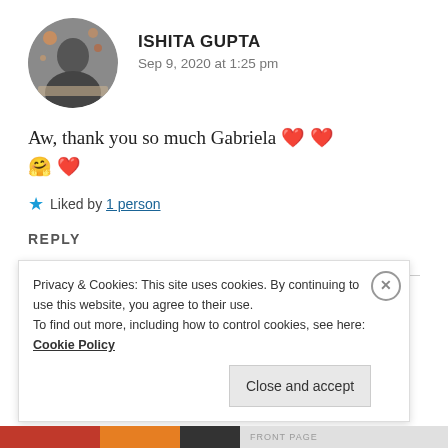[Figure (photo): Circular avatar photo of Ishita Gupta, showing a person with bokeh background]
ISHITA GUPTA
Sep 9, 2020 at 1:25 pm
Aw, thank you so much Gabriela 💕 💕 🤗 ❤️
★ Liked by 1 person
REPLY
Privacy & Cookies: This site uses cookies. By continuing to use this website, you agree to their use.
To find out more, including how to control cookies, see here: Cookie Policy